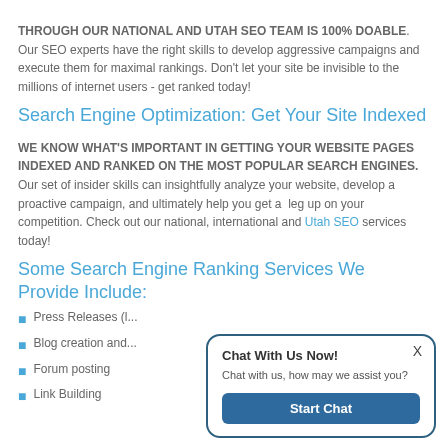THROUGH OUR NATIONAL AND UTAH SEO TEAM IS 100% DOABLE. Our SEO experts have the right skills to develop aggressive campaigns and execute them for maximal rankings. Don't let your site be invisible to the millions of internet users - get ranked today!
Search Engine Optimization: Get Your Site Indexed
WE KNOW WHAT'S IMPORTANT IN GETTING YOUR WEBSITE PAGES INDEXED AND RANKED ON THE MOST POPULAR SEARCH ENGINES. Our set of insider skills can insightfully analyze your website, develop a proactive campaign, and ultimately help you get a leg up on your competition. Check out our national, international and Utah SEO services today!
Some Search Engine Ranking Services We Provide Include:
Press Releases (l...
Blog creation and...
Forum posting
Link Building
[Figure (other): Chat With Us Now! popup dialog with 'Chat with us, how may we assist you?' message and a 'Start Chat' button and an X close button]